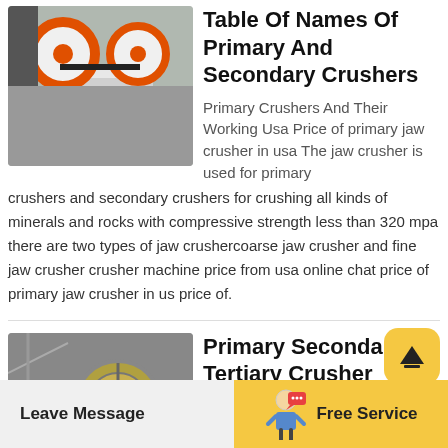Table Of Names Of Primary And Secondary Crushers
[Figure (photo): White jaw crusher machine with orange wheels, industrial equipment]
Primary Crushers And Their Working Usa Price of primary jaw crusher in usa The jaw crusher is used for primary crushers and secondary crushers for crushing all kinds of minerals and rocks with compressive strength less than 320 mpa there are two types of jaw crushercoarse jaw crusher and fine jaw crusher crusher machine price from usa online chat price of primary jaw crusher in us price of.
[Figure (photo): Industrial crusher machine with large belt drive wheel in factory setting]
Primary Secondary Tertiary Crusher Types Chart
Leave Message    Free Service